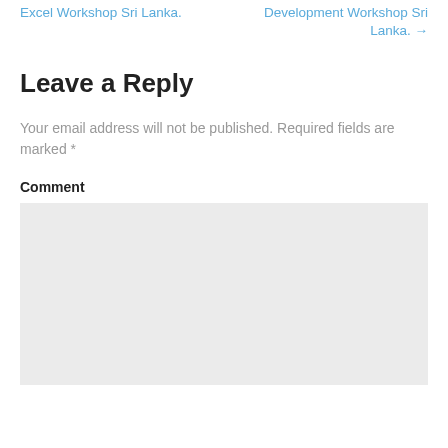Excel Workshop Sri Lanka.
Development Workshop Sri Lanka. →
Leave a Reply
Your email address will not be published. Required fields are marked *
Comment
[Figure (other): Empty comment text area input box with light gray background]